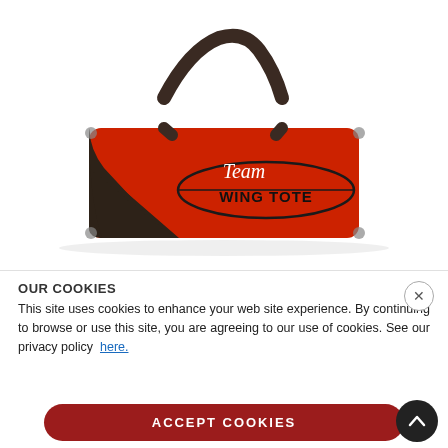[Figure (photo): Red and black Team WingTote bag with shoulder strap, long rectangular shape, shown against white background]
$80.99
OUR COOKIES
This site uses cookies to enhance your web site experience. By continuing to browse or use this site, you are agreeing to our use of cookies. See our privacy policy here.
ACCEPT COOKIES